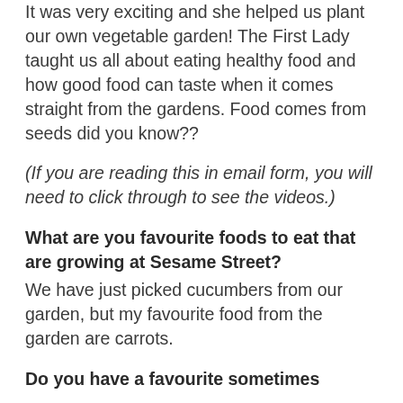It was very exciting and she helped us plant our own vegetable garden! The First Lady taught us all about eating healthy food and how good food can taste when it comes straight from the gardens. Food comes from seeds did you know??
(If you are reading this in email form, you will need to click through to see the videos.)
What are you favourite foods to eat that are growing at Sesame Street?
We have just picked cucumbers from our garden, but my favourite food from the garden are carrots.
Do you have a favourite sometimes